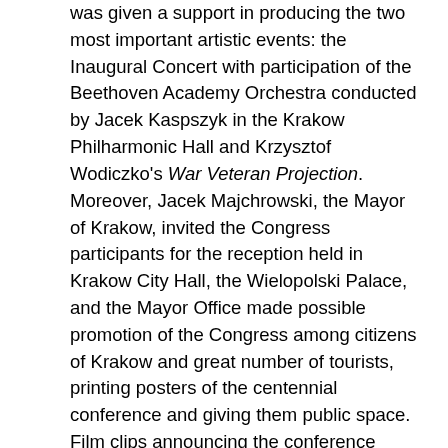was given a support in producing the two most important artistic events: the Inaugural Concert with participation of the Beethoven Academy Orchestra conducted by Jacek Kaspszyk in the Krakow Philharmonic Hall and Krzysztof Wodiczko's War Veteran Projection. Moreover, Jacek Majchrowski, the Mayor of Krakow, invited the Congress participants for the reception held in Krakow City Hall, the Wielopolski Palace, and the Mayor Office made possible promotion of the Congress among citizens of Krakow and great number of tourists, printing posters of the centennial conference and giving them public space. Film clips announcing the conference event were seen on the television monitors included on city-wide trams and buses. The organizers engaged many of Krakow's scientific and cultural institutions thus fulfilling all organizers intentions to make the Congress fully representative of Poland's and Krakow's aesthetic, scientific, and cultural communities. One result of this cooperation was the publication, 20th